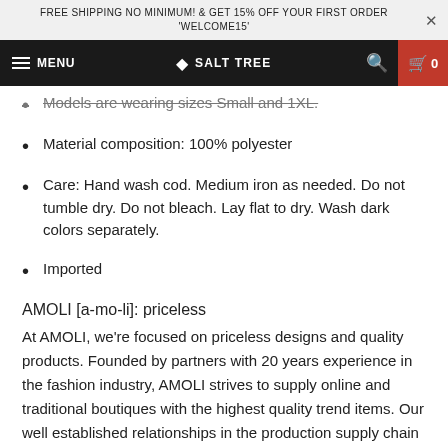FREE SHIPPING NO MINIMUM! & GET 15% OFF YOUR FIRST ORDER 'WELCOME15'
MENU  SALT TREE  0
Models are wearing sizes Small and 1XL.
Material composition: 100% polyester
Care: Hand wash cod. Medium iron as needed. Do not tumble dry. Do not bleach. Lay flat to dry. Wash dark colors separately.
Imported
AMOLI [a-mo-li]: priceless
At AMOLI, we're focused on priceless designs and quality products. Founded by partners with 20 years experience in the fashion industry, AMOLI strives to supply online and traditional boutiques with the highest quality trend items. Our well established relationships in the production supply chain enables us to provide you with clothing that is